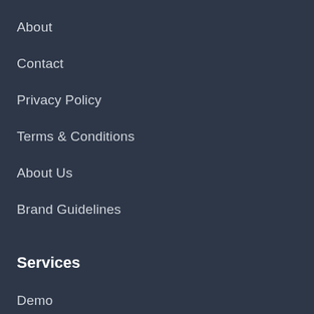About
Contact
Privacy Policy
Terms & Conditions
About Us
Brand Guidelines
Services
Demo
Pricing
Blog